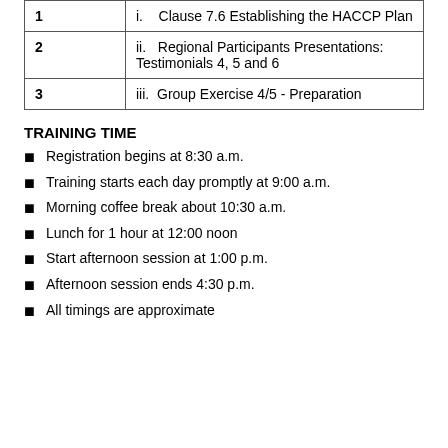|  |  |
| --- | --- |
| 1 | i.    Clause 7.6 Establishing the HACCP Plan |
| 2 | ii.   Regional Participants Presentations:
Testimonials 4, 5 and 6 |
| 3 | iii.  Group Exercise 4/5 - Preparation |
TRAINING TIME
Registration begins at 8:30 a.m.
Training starts each day promptly at 9:00 a.m.
Morning coffee break about 10:30 a.m.
Lunch for 1 hour at 12:00 noon
Start afternoon session at 1:00 p.m.
Afternoon session ends 4:30 p.m.
All timings are approximate